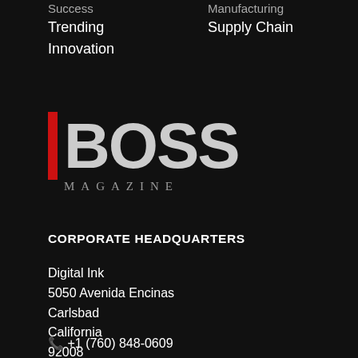Success
Manufacturing
Trending
Supply Chain
Innovation
[Figure (logo): BOSS Magazine logo with red vertical bar on left, bold white BOSS text, and MAGAZINE in smaller spaced letters below]
CORPORATE HEADQUARTERS
Digital Ink
5050 Avenida Encinas
Carlsbad
California
92008
+1 (760) 848-0609